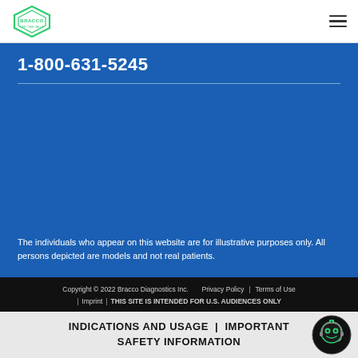Bracco logo | Navigation menu
1-800-631-5245
The individuals who appear on this website are for illustrative purposes only. All persons depicted are models and not real patients.
Copyright © 2022 Bracco Diagnostics Inc.  Privacy Policy | Terms of Use | Imprint | THIS SITE IS INTENDED FOR U.S. AUDIENCES ONLY
INDICATIONS AND USAGE | IMPORTANT SAFETY INFORMATION